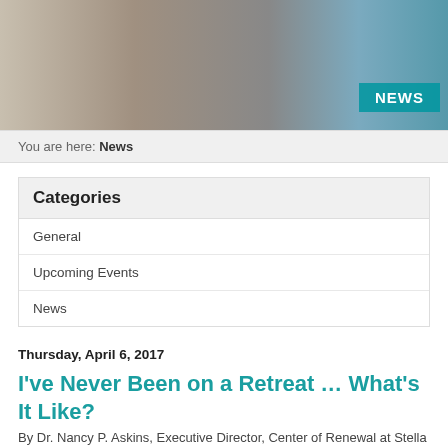[Figure (photo): Header photo of a cozy sitting room with floral armchairs and a wooden side table, with a colorful bird artwork on the right side. A teal 'NEWS' badge appears in the lower right of the image.]
You are here: News
Categories
General
Upcoming Events
News
Thursday, April 6, 2017
I've Never Been on a Retreat … What's It Like?
By Dr. Nancy P. Askins, Executive Director, Center of Renewal at Stella Niagara
“What is it like to go on a retreat? I’ve never been on one.” This